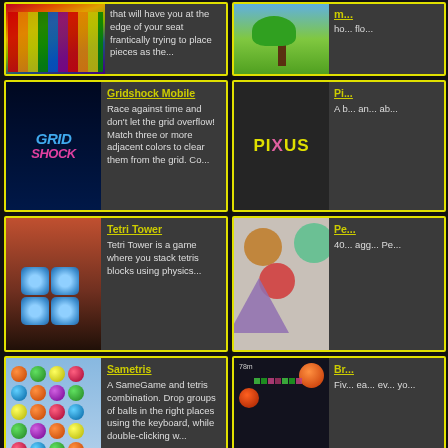[Figure (screenshot): Squozzle game card - partial, cropped at top. Shows colorful tile game image and description text.]
that will have you at the edge of your seat frantically trying to place pieces as the...
[Figure (screenshot): Right column partial game card - tree/nature game, cropped at right]
[Figure (screenshot): Gridshock Mobile game card with grid shock logo]
Gridshock Mobile
Race against time and don't let the grid overflow! Match three or more adjacent colors to clear them from the grid. Co...
[Figure (screenshot): Pixus game card - right column, partially visible]
Pi...
A b... and... ab...
[Figure (screenshot): Tetri Tower game card with glowing blue blocks]
Tetri Tower
Tetri Tower is a game where you stack tetris blocks using physics...
[Figure (screenshot): Pe... game - circles and triangle shapes, partially visible right column]
Pe...
40... agg... Pe...
[Figure (screenshot): Sametris game card with colorful balls stacked]
Sametris
A SameGame and tetris combination. Drop groups of balls in the right places using the keyboard, while double-clicking w...
[Figure (screenshot): Br... game card - dark space shooter game, partially visible right column]
Br...
Fiv... ea... ev... yo...